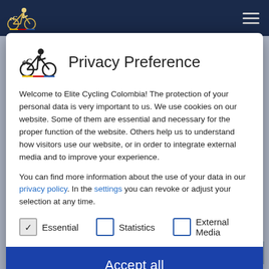[Figure (screenshot): Website navigation bar with Elite Cycling Colombia logo on dark navy background and hamburger menu icon on the right]
[Figure (screenshot): Privacy preference modal dialog with Elite Cycling Colombia logo, title 'Privacy Preference', body text about data protection and cookies, checkboxes for Essential (checked), Statistics, and External Media, and an 'Accept all' button]
Privacy Preference
Welcome to Elite Cycling Colombia! The protection of your personal data is very important to us. We use cookies on our website. Some of them are essential and necessary for the proper function of the website. Others help us to understand how visitors use our website, or in order to integrate external media and to improve your experience.
You can find more information about the use of your data in our privacy policy. In the settings you can revoke or adjust your selection at any time.